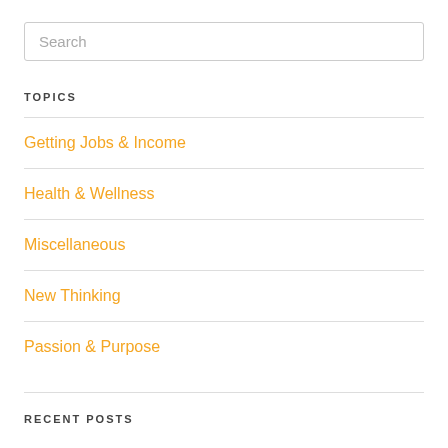Search
TOPICS
Getting Jobs & Income
Health & Wellness
Miscellaneous
New Thinking
Passion & Purpose
RECENT POSTS